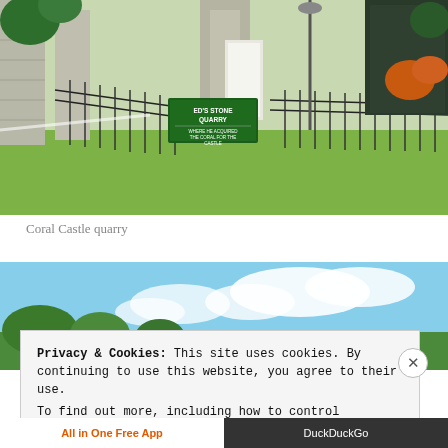[Figure (photo): Outdoor photo of Coral Castle quarry area showing stone pillars with iron fence, green sign reading 'ED'S STONE QUARRY - WHERE HE ACQUIRED THE CORAL FOR THE CASTLE', green grass lawn, trees and orange flowers, lamppost.]
Coral Castle quarry
[Figure (photo): Partially visible outdoor photo showing blue sky with white clouds and green trees at bottom.]
Privacy & Cookies: This site uses cookies. By continuing to use this website, you agree to their use.
To find out more, including how to control cookies, see here: Cookie Policy